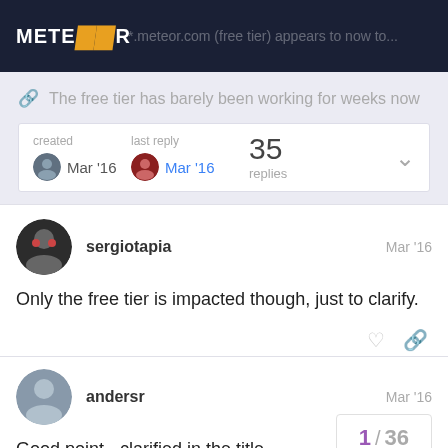METEOR — *.meteor.com (free tier) appears to now to...
The free tier has barely been working for weeks now
| created | last reply | 35 replies |
| --- | --- | --- |
| Mar '16 | Mar '16 |  |
sergiotapia  Mar '16
Only the free tier is impacted though, just to clarify.
andersr  Mar '16
Good point - clarified in the title
1 / 36